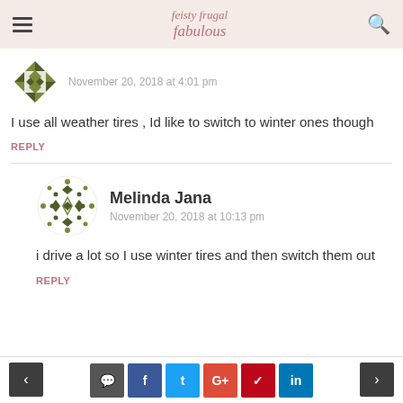feisty frugal fabulous
November 20, 2018 at 4:01 pm
I use all weather tires , Id like to switch to winter ones though
REPLY
Melinda Jana
November 20, 2018 at 10:13 pm
i drive a lot so I use winter tires and then switch them out
REPLY
< comment f t G+ p in >